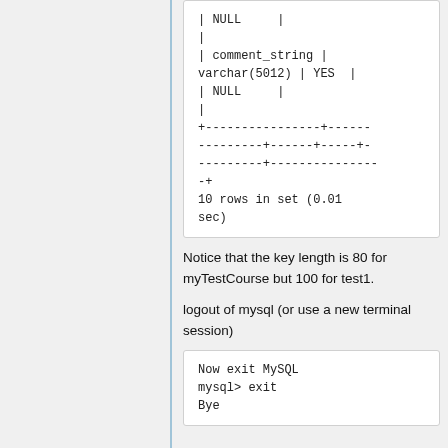| NULL     |
|
| comment_string | varchar(5012) | YES  | | NULL     |
|
+----------------+------+------+---------+----------------+
10 rows in set (0.01 sec)
Notice that the key length is 80 for myTestCourse but 100 for test1.
logout of mysql (or use a new terminal session)
Now exit MySQL
mysql> exit
Bye